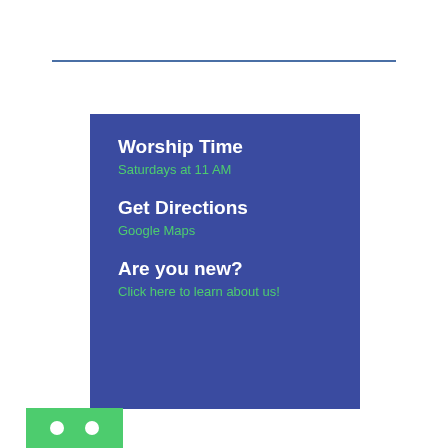[Figure (infographic): Blue box with three sections: Worship Time - Saturdays at 11 AM, Get Directions - Google Maps, Are you new? - Click here to learn about us!]
[Figure (other): Green bar with two white circular dots]